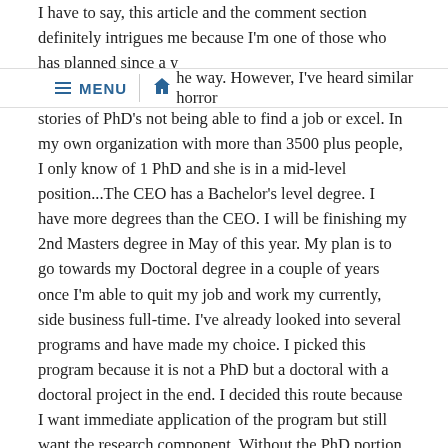I have to say, this article and the comment section definitely intrigues me because I'm one of those who has planned since a y he way. However, I've heard similar horror stories of PhD's not being able to find a job or excel. In my own organization with more than 3500 plus people, I only know of 1 PhD and she is in a mid-level position...The CEO has a Bachelor's level degree. I have more degrees than the CEO. I will be finishing my 2nd Masters degree in May of this year. My plan is to go towards my Doctoral degree in a couple of years once I'm able to quit my job and work my currently, side business full-time. I've already looked into several programs and have made my choice. I picked this program because it is not a PhD but a doctoral with a doctoral project in the end. I decided this route because I want immediate application of the program but still want the research component. Without the PhD portion, I know I won't ever get tenure (not my plan anymore) and I won't get offered as many teaching positions. Yes, I would like to teach but know that opportunity is smaller for non PhD doctoral level degree holders. Because I perceived that it is harder for PhD to get non-academic application in the form of a job or paid assignment, I decided this route. Why? As the author of this post